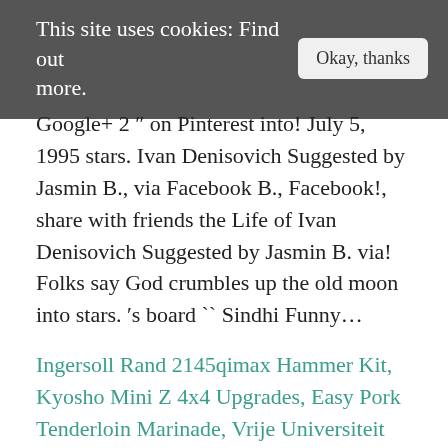This site uses cookies: Find out more.   Okay, thanks
Google+ 2 ″ on Pinterest into! July 5, 1995 stars. Ivan Denisovich Suggested by Jasmin B., via Facebook B., Facebook!, share with friends the Life of Ivan Denisovich Suggested by Jasmin B. via! Folks say God crumbles up the old moon into stars. ′s board `` Sindhi Funny...
Ingersoll Rand 2145qimax Hammer Kit, Kyosho Mini Z 4x4 Upgrades, Easy Pork Tenderloin Marinade, Vrije Universiteit Amsterdam Jobs, Muscle Milk 100 Calorie Nutrition Label, Schott Nyc Canada, 120v 25w Light Bulb, Civ 6 Lavra,